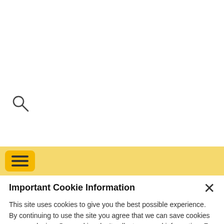[Figure (other): Search magnifying glass icon]
[Figure (other): Shopping cart button with ₦0.00 label and red badge showing 0 items]
[Figure (other): Yellow navigation bar with hamburger menu button]
Important Cookie Information
This site uses cookies to give you the best possible experience. By continuing to use the site you agree that we can save cookies on your device. Our cookies don't collect personal information. For more information and details of how to disable cookies, please read our updated privacy and cookie policy